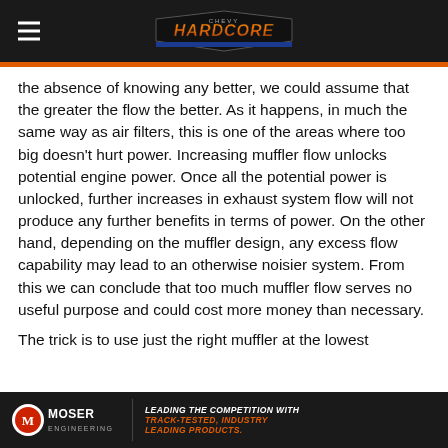Hardcore (logo)
the absence of knowing any better, we could assume that the greater the flow the better. As it happens, in much the same way as air filters, this is one of the areas where too big doesn't hurt power. Increasing muffler flow unlocks potential engine power. Once all the potential power is unlocked, further increases in exhaust system flow will not produce any further benefits in terms of power. On the other hand, depending on the muffler design, any excess flow capability may lead to an otherwise noisier system. From this we can conclude that too much muffler flow serves no useful purpose and could cost more money than necessary.
The trick is to use just the right muffler at the lowest
Moser Engineering — LEADING THE COMPETITION WITH TRACK-TESTED, INDUSTRY LEADING PRODUCTS.